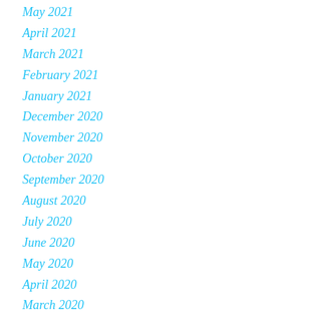May 2021
April 2021
March 2021
February 2021
January 2021
December 2020
November 2020
October 2020
September 2020
August 2020
July 2020
June 2020
May 2020
April 2020
March 2020